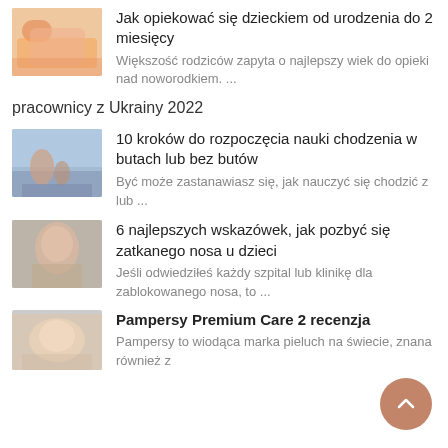[Figure (photo): Thumbnail image of a newborn baby with orange/warm colors]
Jak opiekować się dzieckiem od urodzenia do 2 miesięcy
Większość rodziców zapyta o najlepszy wiek do opieki nad noworodkiem. ...
pracownicy z Ukrainy 2022
[Figure (photo): Thumbnail image of a person on a beach with a child]
10 kroków do rozpoczęcia nauki chodzenia w butach lub bez butów
Być może zastanawiasz się, jak nauczyć się chodzić z lub ...
[Figure (photo): Thumbnail image of a child possibly sick or with blocked nose]
6 najlepszych wskazówek, jak pozbyć się zatkanego nosa u dzieci
Jeśli odwiedziłeś każdy szpital lub klinikę dla zablokowanego nosa, to ...
[Figure (photo): Thumbnail image of a baby sleeping]
Pampersy Premium Care 2 recenzja
Pampersy to wiodąca marka pieluch na świecie, znana również z